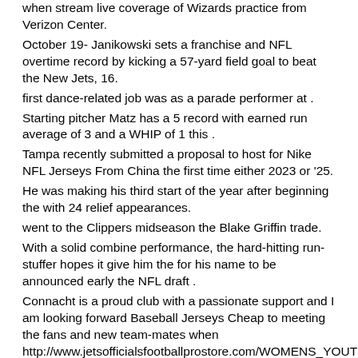when stream live coverage of Wizards practice from Verizon Center.
October 19- Janikowski sets a franchise and NFL overtime record by kicking a 57-yard field goal to beat the New Jets, 16.
first dance-related job was as a parade performer at .
Starting pitcher Matz has a 5 record with earned run average of 3 and a WHIP of 1 this .
Tampa recently submitted a proposal to host for Nike NFL Jerseys From China the first time either 2023 or '25.
He was making his third start of the year after beginning the with 24 relief appearances.
went to the Clippers midseason the Blake Griffin trade.
With a solid combine performance, the hard-hitting run-stuffer hopes it give him the for his name to be announced early the NFL draft .
Connacht is a proud club with a passionate support and I am looking forward Baseball Jerseys Cheap to meeting the fans and new team-mates when http://www.jetsofficialsfootballprostore.com/WOMENS_YOUTH_